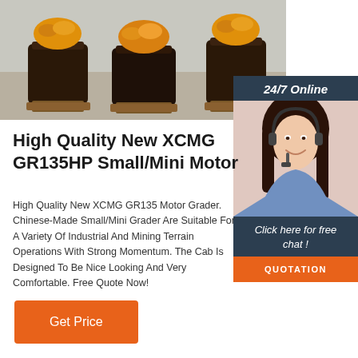[Figure (photo): Dark woven baskets filled with orange/yellow produce on a gray background, displayed in a row on wooden crates.]
[Figure (photo): Customer service agent woman with headset smiling, overlaid on dark blue sidebar panel with 24/7 Online label, Click here for free chat button, and QUOTATION button.]
High Quality New XCMG GR135HP Small/Mini Motor
High Quality New XCMG GR135 Motor Grader. Chinese-Made Small/Mini Grader Are Suitable For A Variety Of Industrial And Mining Terrain Operations With Strong Momentum. The Cab Is Designed To Be Nice Looking And Very Comfortable. Free Quote Now!
Get Price